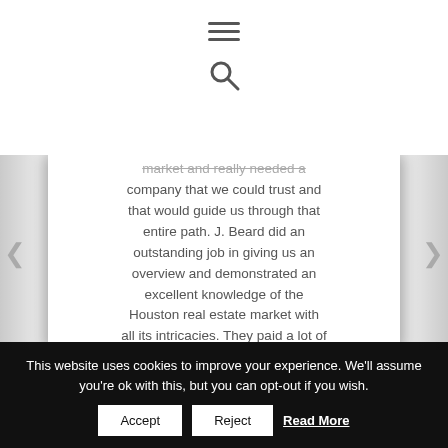[Figure (other): Hamburger menu icon (three horizontal lines) centered at top of page]
[Figure (other): Search (magnifying glass) icon centered below menu icon]
market and really needed a company that we could trust and that would guide us through that entire path. J. Beard did an outstanding job in giving us an overview and demonstrated an excellent knowledge of the Houston real estate market with all its intricacies. They paid a lot of
This website uses cookies to improve your experience. We'll assume you're ok with this, but you can opt-out if you wish.
Accept
Reject
Read More